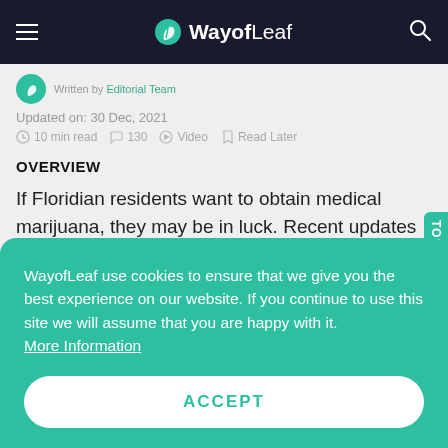WayofLeaf
Written by Editorial Team
Updated on: 30 Dec, 2021
10 min read  130  Video  Read Later
OVERVIEW
If Floridian residents want to obtain medical marijuana, they may be in luck. Recent updates allow for qualifying patients to apply for mmi ca
WayofLeaf use cookies to ensure that we give you the best experience on our website. If you continue to use this site we will assume that you are happy with it. More Information
ACCEPT